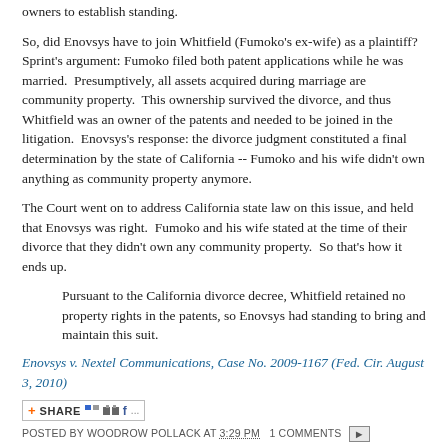owners to establish standing.
So, did Enovsys have to join Whitfield (Fumoko's ex-wife) as a plaintiff?  Sprint's argument: Fumoko filed both patent applications while he was married.  Presumptively, all assets acquired during marriage are community property.  This ownership survived the divorce, and thus Whitfield was an owner of the patents and needed to be joined in the litigation.  Enovsys's response: the divorce judgment constituted a final determination by the state of California -- Fumoko and his wife didn't own anything as community property anymore.
The Court went on to address California state law on this issue, and held that Enovsys was right.  Fumoko and his wife stated at the time of their divorce that they didn't own any community property.  So that's how it ends up.
Pursuant to the California divorce decree, Whitfield retained no property rights in the patents, so Enovsys had standing to bring and maintain this suit.
Enovsys v. Nextel Communications, Case No. 2009-1167 (Fed. Cir. August 3, 2010)
[Figure (other): Share button with social media icons (AddThis share button with icons for various social networks including Facebook)]
POSTED BY WOODROW POLLACK AT 3:29 PM   1 COMMENTS